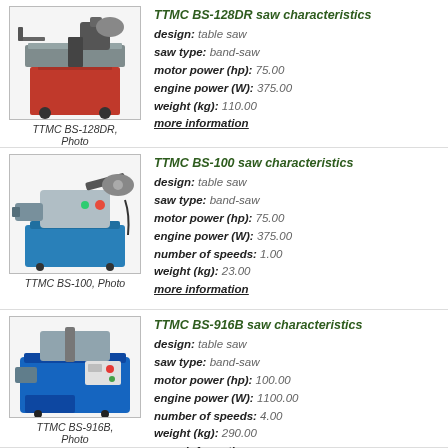[Figure (photo): Photo of TTMC BS-128DR table band saw with red cabinet base]
TTMC BS-128DR, Photo
TTMC BS-128DR saw characteristics
design: table saw
saw type: band-saw
motor power (hp): 75.00
engine power (W): 375.00
weight (kg): 110.00
more information
[Figure (photo): Photo of TTMC BS-100 portable band saw with blue base]
TTMC BS-100, Photo
TTMC BS-100 saw characteristics
design: table saw
saw type: band-saw
motor power (hp): 75.00
engine power (W): 375.00
number of speeds: 1.00
weight (kg): 23.00
more information
[Figure (photo): Photo of TTMC BS-916B band saw with blue body]
TTMC BS-916B, Photo
TTMC BS-916B saw characteristics
design: table saw
saw type: band-saw
motor power (hp): 100.00
engine power (W): 1100.00
number of speeds: 4.00
weight (kg): 290.00
more information